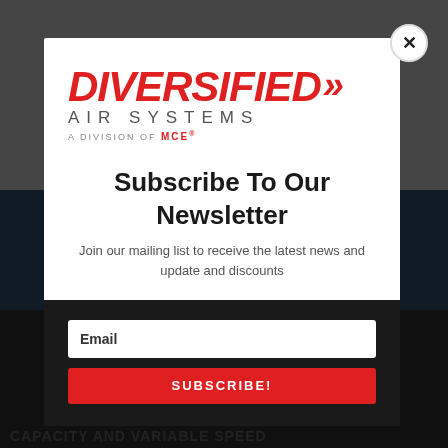[Figure (logo): Diversified Air Systems logo — DIVERSIFIED in red bold italic with double chevron arrows, AIR SYSTEMS in grey spaced caps, A DIVISION OF MCE in small text below]
Subscribe To Our Newsletter
Join our mailing list to receive the latest news and update and discounts
Email
SUBSCRIBE!
CAPACITY AND VARIABLE SPEED